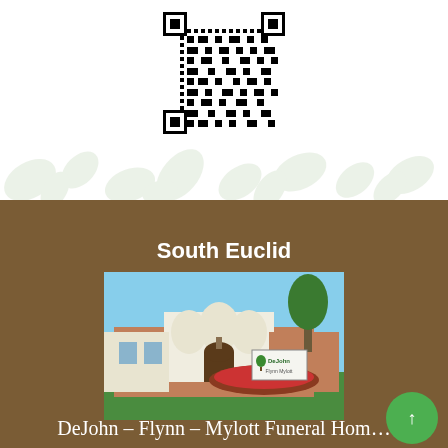[Figure (other): QR code in black and white]
[Figure (illustration): Decorative green leaf/foliage watermark background]
South Euclid
[Figure (photo): Photo of DeJohn Flynn Mylott funeral home building in South Euclid, a white and brick structure with arched entrance and signage]
DeJohn – Flynn – Mylott Funeral Home